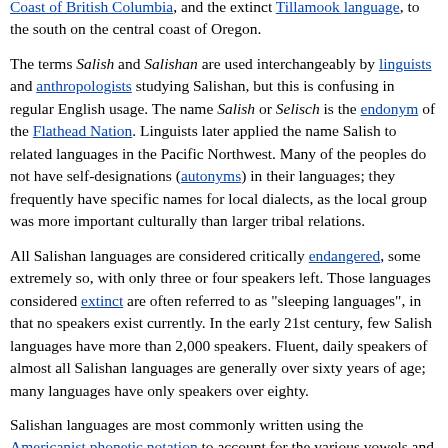Coast of British Columbia, and the extinct Tillamook language, to the south on the central coast of Oregon.
The terms Salish and Salishan are used interchangeably by linguists and anthropologists studying Salishan, but this is confusing in regular English usage. The name Salish or Selisch is the endonym of the Flathead Nation. Linguists later applied the name Salish to related languages in the Pacific Northwest. Many of the peoples do not have self-designations (autonyms) in their languages; they frequently have specific names for local dialects, as the local group was more important culturally than larger tribal relations.
All Salishan languages are considered critically endangered, some extremely so, with only three or four speakers left. Those languages considered extinct are often referred to as "sleeping languages", in that no speakers exist currently. In the early 21st century, few Salish languages have more than 2,000 speakers. Fluent, daily speakers of almost all Salishan languages are generally over sixty years of age; many languages have only speakers over eighty.
Salishan languages are most commonly written using the Americanist phonetic notation to account for the various vowels and consonants that do not exist in most modern alphabets. [citation needed] Many groups have evolved their own distinctive